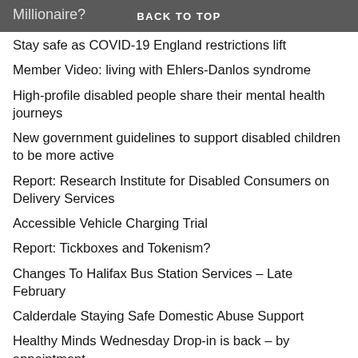Millionaire?
BACK TO TOP
Stay safe as COVID-19 England restrictions lift
Member Video: living with Ehlers-Danlos syndrome
High-profile disabled people share their mental health journeys
New government guidelines to support disabled children to be more active
Report: Research Institute for Disabled Consumers on Delivery Services
Accessible Vehicle Charging Trial
Report: Tickboxes and Tokenism?
Changes To Halifax Bus Station Services – Late February
Calderdale Staying Safe Domestic Abuse Support
Healthy Minds Wednesday Drop-in is back – by appointment
Be Here Now: weekly creative arts group
Inclusive Dance Workshop
Disability Rights UK Newsletter